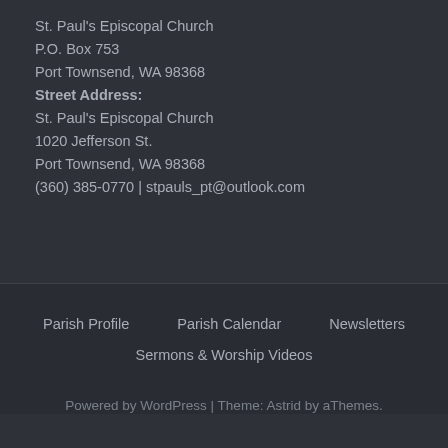St. Paul's Episcopal Church
P.O. Box 753
Port Townsend, WA 98368
Street Address:
St. Paul's Episcopal Church
1020 Jefferson St.
Port Townsend, WA 98368
(360) 385-0770 | stpauls_pt@outlook.com
Parish Profile
Parish Calendar
Newsletters
Sermons & Worship Videos
Powered by WordPress | Theme: Astrid by aThemes.